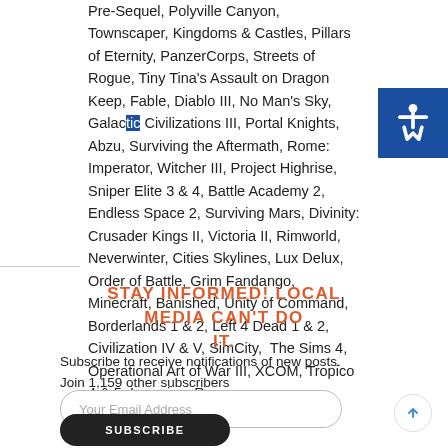Pre-Sequel, Polyville Canyon, Townscaper, Kingdoms & Castles, Pillars of Eternity, PanzerCorps, Streets of Rogue, Tiny Tina's Assault on Dragon Keep, Fable, Diablo III, No Man's Sky, Galactic Civilizations III, Portal Knights, Abzu, Surviving the Aftermath, Rome: Imperator, Witcher III, Project Highrise, Sniper Elite 3 & 4, Battle Academy 2, Endless Space 2, Surviving Mars, Divinity: Crusader Kings II, Victoria II, Rimworld, Neverwinter, Cities Skylines, Lux Delux, Order of Battle, Grim Fandango, Minecraft, Banished, Unity of Command, Borderlands 1 & 2, Left 4 Dead 1 & 2, Civilization IV & V, SimCity, The Sims 4, Operational Art of War III, XCOM, Tropico 4 & 5, Imperium Romanum...
STAY INFORMED! LOCAL MEDIA CAN'T DO IT.
Subscribe to receive notifications of new posts.
Join 1,159 other subscribers